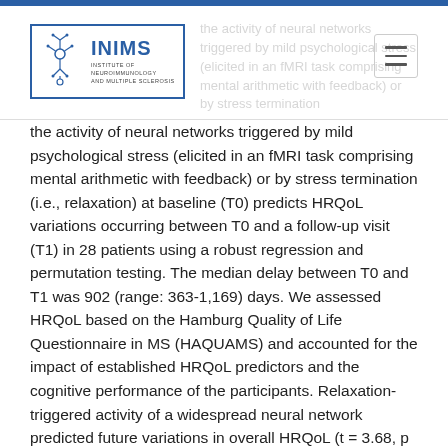INIMS — Institute of Neuroimmunology and Multiple Sclerosis
the activity of neural networks triggered by mild psychological stress (elicited in an fMRI task comprising mental arithmetic with feedback) or by stress termination (i.e., relaxation) at baseline (T0) predicts HRQoL variations occurring between T0 and a follow-up visit (T1) in 28 patients using a robust regression and permutation testing. The median delay between T0 and T1 was 902 (range: 363-1,169) days. We assessed HRQoL based on the Hamburg Quality of Life Questionnaire in MS (HAQUAMS) and accounted for the impact of established HRQoL predictors and the cognitive performance of the participants. Relaxation-triggered activity of a widespread neural network predicted future variations in overall HRQoL (t = 3.68, p family-wise error [FWE]-corrected = 0.008). Complementary analyses showed that relaxation-triggered activity of the same network at baseline was